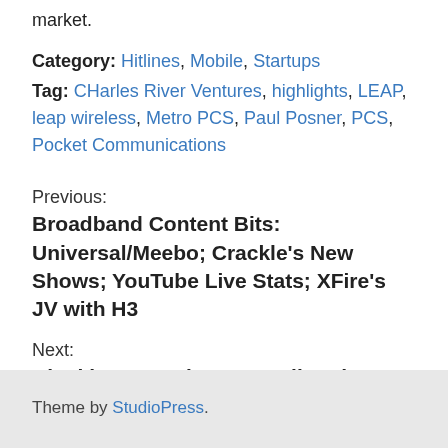market.
Category: Hitlines, Mobile, Startups
Tag: CHarles River Ventures, highlights, LEAP, leap wireless, Metro PCS, Paul Posner, PCS, Pocket Communications
Previous:
Broadband Content Bits: Universal/Meebo; Crackle's New Shows; YouTube Live Stats; XFire's JV with H3
Next:
Blockbuster Debuts Broadband Set-Top Box: Device 'Free' With Pre-Paid Rentals
Theme by StudioPress.